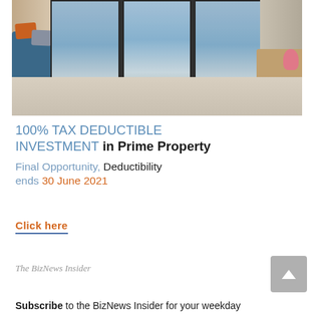[Figure (photo): Interior photo of a luxury apartment with floor-to-ceiling glass sliding doors opening onto a balcony with ocean/city views. Blue sofa with orange and grey cushions on the left, dining table in the center, wood-topped furniture with flowers on the right.]
100% TAX DEDUCTIBLE INVESTMENT in Prime Property
Final Opportunity, Deductibility ends 30 June 2021
Click here
The BizNews Insider
Subscribe to the BizNews Insider for your weekday